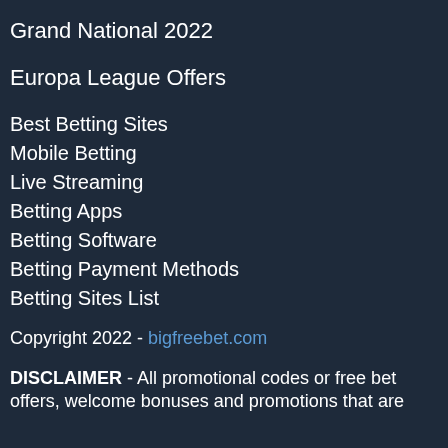Grand National 2022
Europa League Offers
Best Betting Sites
Mobile Betting
Live Streaming
Betting Apps
Betting Software
Betting Payment Methods
Betting Sites List
Copyright 2022 - bigfreebet.com
DISCLAIMER - All promotional codes or free bet offers, welcome bonuses and promotions that are